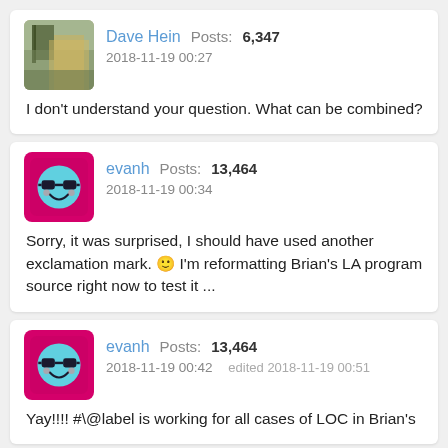[Figure (photo): Dave Hein forum avatar - outdoor photo]
Dave Hein  Posts: 6,347
2018-11-19 00:27
I don't understand your question. What can be combined?
[Figure (illustration): evanh forum avatar - smiley face with sunglasses on pink background]
evanh  Posts: 13,464
2018-11-19 00:34
Sorry, it was surprised, I should have used another exclamation mark. 🙂 I'm reformatting Brian's LA program source right now to test it ...
[Figure (illustration): evanh forum avatar - smiley face with sunglasses on pink background]
evanh  Posts: 13,464
2018-11-19 00:42   edited 2018-11-19 00:51
Yay!!!! #\@label is working for all cases of LOC in Brian's